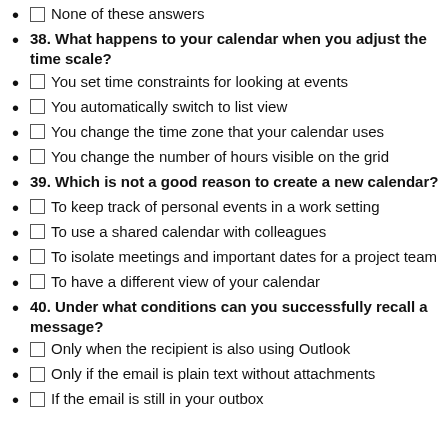None of these answers
38. What happens to your calendar when you adjust the time scale?
You set time constraints for looking at events
You automatically switch to list view
You change the time zone that your calendar uses
You change the number of hours visible on the grid
39. Which is not a good reason to create a new calendar?
To keep track of personal events in a work setting
To use a shared calendar with colleagues
To isolate meetings and important dates for a project team
To have a different view of your calendar
40. Under what conditions can you successfully recall a message?
Only when the recipient is also using Outlook
Only if the email is plain text without attachments
If the email is still in your outbox